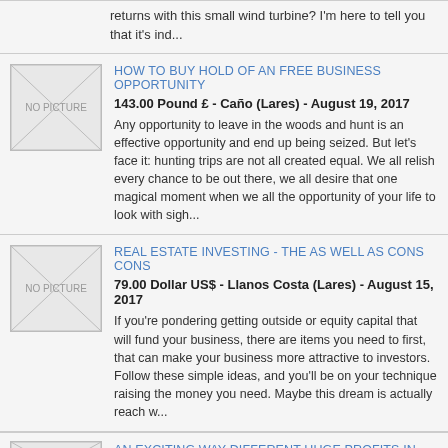returns with this small wind turbine? I'm here to tell you that it's ind...
HOW TO BUY HOLD OF AN FREE BUSINESS OPPORTUNITY
143.00 Pound £ - Caño (Lares) - August 19, 2017
Any opportunity to leave in the woods and hunt is an effective opportunity and end up being seized. But let's face it: hunting trips are not all created equal. We all relish every chance to be out there, we all desire that one magical moment when we all the opportunity of your life to look with sigh...
REAL ESTATE INVESTING - THE AS WELL AS CONS CONS
79.00 Dollar US$ - Llanos Costa (Lares) - August 15, 2017
If you're pondering getting outside or equity capital that will fund your business, there are items you need to first, that can make your business more attractive to investors. Follow these simple ideas, and you'll be on your technique raising the money you need. Maybe this dream is actually reach w...
AN EXCITING WAY DIFFERENT HUGE PROFITS IN REAL ESTATE